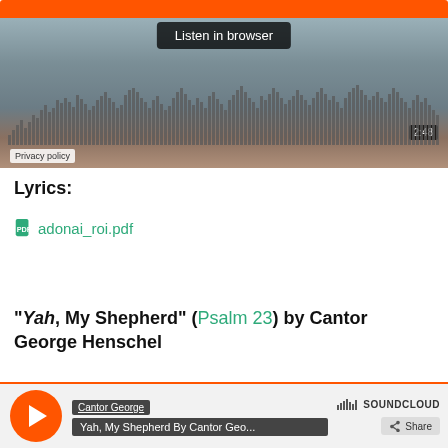[Figure (screenshot): SoundCloud-style audio player embedded in webpage showing a person with colorful fabric in background, waveform visualizer, Listen in browser button, timer showing 2:48, Privacy policy label, and orange play bar at top]
Lyrics:
adonai_roi.pdf
“Yah, My Shepherd” (Psalm 23) by Cantor George Henschel
[Figure (screenshot): SoundCloud player widget showing Cantor George artist name, track title Yah, My Shepherd By Cantor Geo..., orange play button, SoundCloud logo, and Share button]